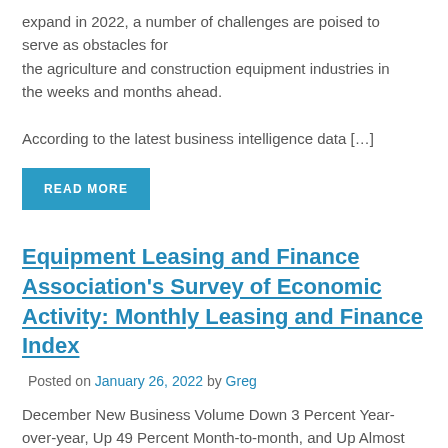expand in 2022, a number of challenges are poised to serve as obstacles for the agriculture and construction equipment industries in the weeks and months ahead.
According to the latest business intelligence data […]
READ MORE
Equipment Leasing and Finance Association's Survey of Economic Activity: Monthly Leasing and Finance Index
Posted on January 26, 2022 by Greg
December New Business Volume Down 3 Percent Year-over-year, Up 49 Percent Month-to-month, and Up Almost